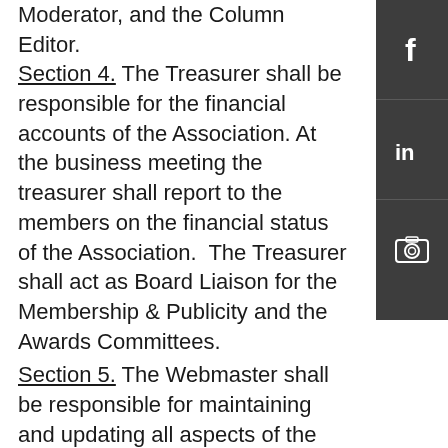Moderator, and the Column Editor. Section 4. The Treasurer shall be responsible for the financial accounts of the Association. At the business meeting the treasurer shall report to the members on the financial status of the Association. The Treasurer shall act as Board Liaison for the Membership & Publicity and the Awards Committees.
Section 5. The Webmaster shall be responsible for maintaining and updating all aspects of the Association's website.
Section 6. The Column Editor shall be responsible for soliciting written articles from AASL members for publication in the ACSA Newsletter, editing articles submitted, and
[Figure (other): Social media sidebar with Facebook (f), LinkedIn (in), and camera/photo icons on dark gray background]